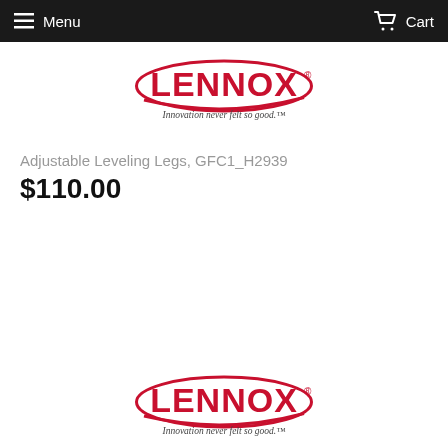Menu   Cart
[Figure (logo): Lennox logo with tagline 'Innovation never felt so good.' (top)]
Adjustable Leveling Legs, GFC1_H2939
$110.00
[Figure (logo): Lennox logo with tagline 'Innovation never felt so good.' (bottom)]